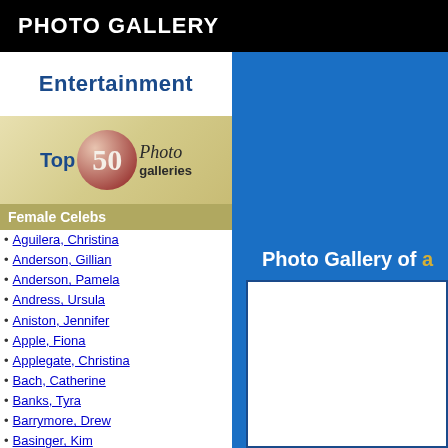PHOTO GALLERY
[Figure (logo): Entertainment Top 50 Photo Galleries logo with blue text and decorative oval badge]
Female Celebs
Aguilera, Christina
Anderson, Gillian
Anderson, Pamela
Andress, Ursula
Aniston, Jennifer
Apple, Fiona
Applegate, Christina
Bach, Catherine
Banks, Tyra
Barrymore, Drew
Basinger, Kim
Bassett, Angela
Bateman, Justine
Berry, Halle
Bullock, Sandra
Photo Gallery of a